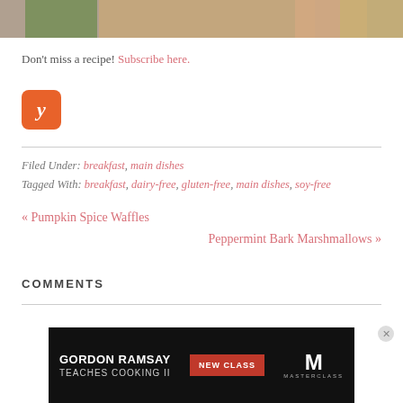[Figure (photo): Partial food photo strip at top of page showing food items being held]
Don't miss a recipe! Subscribe here.
[Figure (logo): Yummly orange square logo with stylized Y]
Filed Under: breakfast, main dishes
Tagged With: breakfast, dairy-free, gluten-free, main dishes, soy-free
« Pumpkin Spice Waffles
Peppermint Bark Marshmallows »
COMMENTS
[Figure (screenshot): Advertisement banner: GORDON RAMSAY TEACHES COOKING II NEW CLASS MasterClass]